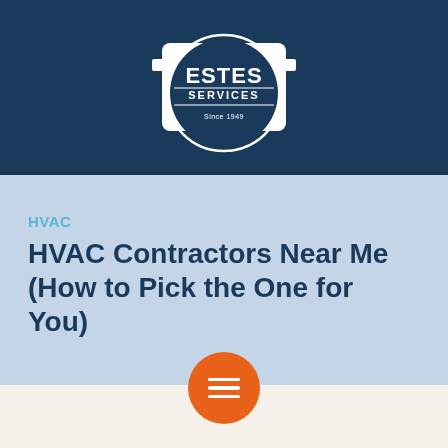[Figure (logo): Estes Services company logo: circular badge with 'ESTES' in large white text, 'SERVICES' below, 'Since 1949' at bottom, on a dark navy blue header background]
HVAC
HVAC Contractors Near Me (How to Pick the One for You)
[Figure (other): Orange circular hamburger menu button with three white horizontal bars, overlapping the orange stripe divider. Bottom navigation bar with phone icon on left, menu button in center, mail icon on right.]